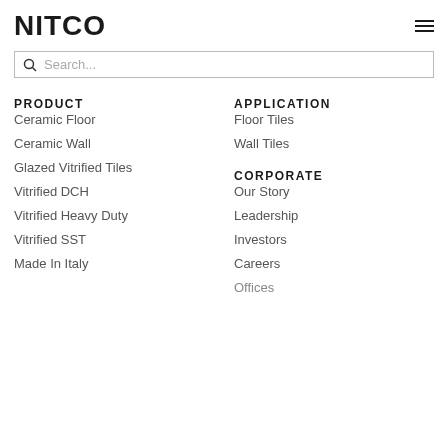NITCO
Search...
PRODUCT
Ceramic Floor
Ceramic Wall
Glazed Vitrified Tiles
Vitrified DCH
Vitrified Heavy Duty
Vitrified SST
Made In Italy
APPLICATION
Floor Tiles
Wall Tiles
CORPORATE
Our Story
Leadership
Investors
Careers
Offices